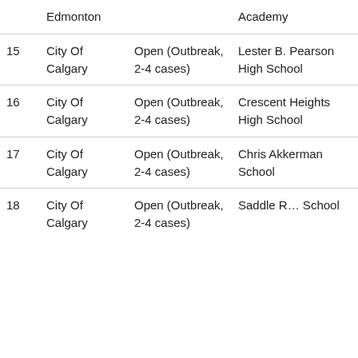| # | Zone | Status | School |
| --- | --- | --- | --- |
|  | Edmonton |  | Academy |
| 15 | City Of Calgary | Open (Outbreak, 2-4 cases) | Lester B. Pearson High School |
| 16 | City Of Calgary | Open (Outbreak, 2-4 cases) | Crescent Heights High School |
| 17 | City Of Calgary | Open (Outbreak, 2-4 cases) | Chris Akkerman School |
| 18 | City Of Calgary | Open (Outbreak, 2-4 cases) | Saddle R… School |